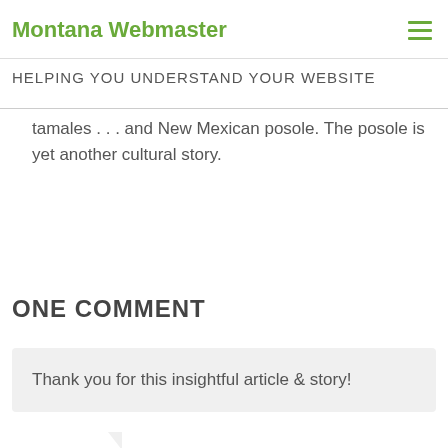Montana Webmaster
HELPING YOU UNDERSTAND YOUR WEBSITE
tamales . . . and New Mexican posole. The posole is yet another cultural story.
ONE COMMENT
Thank you for this insightful article & story!